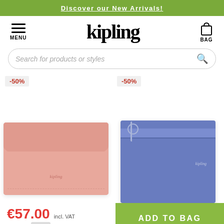Discover our New Arrivals!
[Figure (logo): Kipling brand logo with hamburger menu icon and bag icon]
Search for products or styles
-50%
-50%
[Figure (photo): Pink Kipling wallet with flap closure on white background, -50% discount badge]
[Figure (photo): Blue Kipling crossbody bag with zipper and chain detail, -50% discount badge]
€57.00 incl. VAT
€95.00 -40%
ADD TO BAG